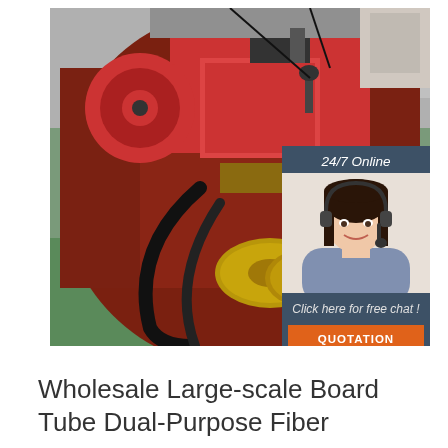[Figure (photo): Close-up photograph of a large-scale industrial fiber board tube dual-purpose machine, showing red metal machinery with spools and cables against a dark cylindrical surface, with a green floor visible at the bottom. An overlaid chat widget shows a customer service representative wearing a headset, with text '24/7 Online', 'Click here for free chat!', and an orange 'QUOTATION' button.]
Wholesale Large-scale Board Tube Dual-Purpose Fiber